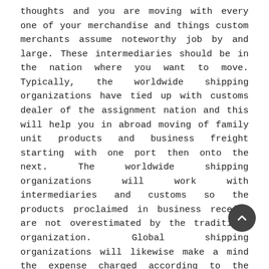thoughts and you are moving with every one of your merchandise and things custom merchants assume noteworthy job by and large. These intermediaries should be in the nation where you want to move. Typically, the worldwide shipping organizations have tied up with customs dealer of the assignment nation and this will help you in abroad moving of family unit products and business freight starting with one port then onto the next. The worldwide shipping organizations will work with intermediaries and customs so the products proclaimed in business receipt are not overestimated by the traditions organization. Global shipping organizations will likewise make a mind the expense charged according to the custom arrangements of assigned nation and furthermore by the intermediary.
Worldwide shipping organizations will guarantee that the merchandise is securely moved to the objective without having any custom issues during the passage